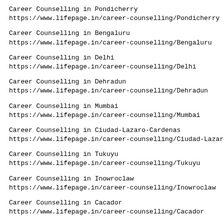Career Counselling in Pondicherry
https://www.lifepage.in/career-counselling/Pondicherry
Career Counselling in Bengaluru
https://www.lifepage.in/career-counselling/Bengaluru
Career Counselling in Delhi
https://www.lifepage.in/career-counselling/Delhi
Career Counselling in Dehradun
https://www.lifepage.in/career-counselling/Dehradun
Career Counselling in Mumbai
https://www.lifepage.in/career-counselling/Mumbai
Career Counselling in Ciudad-Lazaro-Cardenas
https://www.lifepage.in/career-counselling/Ciudad-Lazaro-
Career Counselling in Tukuyu
https://www.lifepage.in/career-counselling/Tukuyu
Career Counselling in Inowroclaw
https://www.lifepage.in/career-counselling/Inowroclaw
Career Counselling in Cacador
https://www.lifepage.in/career-counselling/Cacador
Career Counselling in Debrecen
https://www.lifepage.in/career-counselling/Debrecen